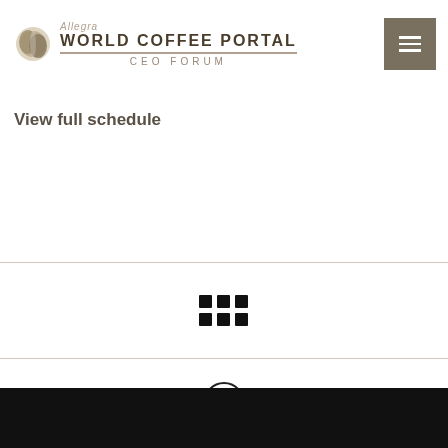[Figure (logo): Allegra World Coffee Portal CEO Forum logo with coffee bean icon]
[Figure (other): Hamburger menu button (three horizontal lines on dark khaki background)]
View full schedule
[Figure (other): 3x2 grid of dots icon (app grid / waffle icon)]
[Figure (other): Up chevron circle icon (scroll to top button)]